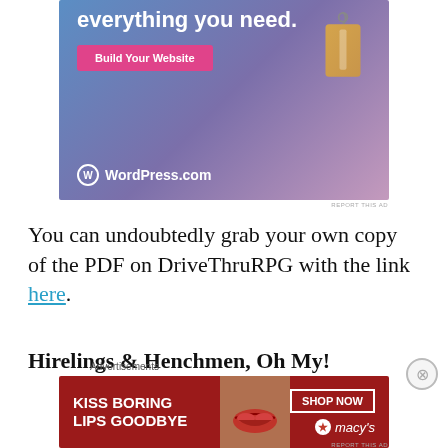[Figure (advertisement): WordPress.com advertisement with gradient blue-purple background, 'everything you need.' text, pink 'Build Your Website' button, a hanging price tag illustration, and WordPress.com logo at bottom left.]
REPORT THIS AD
You can undoubtedly grab your own copy of the PDF on DriveThruRPG with the link here.
Hirelings & Henchmen, Oh My!
Advertisements
[Figure (advertisement): Macy's advertisement with dark red background, 'KISS BORING LIPS GOODBYE' text on left, photo of woman's face with red lips, 'SHOP NOW' button and Macy's star logo on right.]